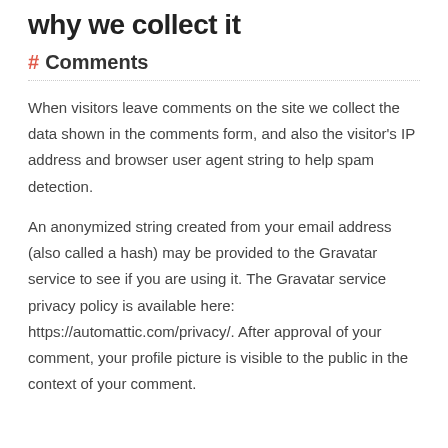why we collect it
# Comments
When visitors leave comments on the site we collect the data shown in the comments form, and also the visitor's IP address and browser user agent string to help spam detection.
An anonymized string created from your email address (also called a hash) may be provided to the Gravatar service to see if you are using it. The Gravatar service privacy policy is available here: https://automattic.com/privacy/. After approval of your comment, your profile picture is visible to the public in the context of your comment.